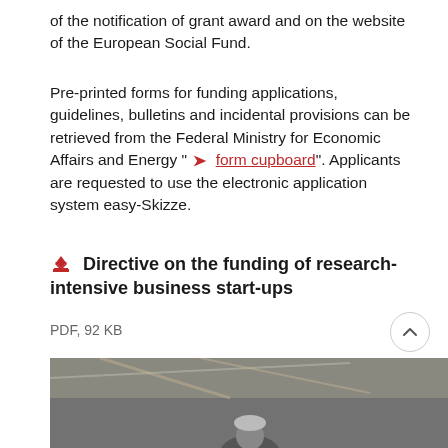of the notification of grant award and on the website of the European Social Fund.
Pre-printed forms for funding applications, guidelines, bulletins and incidental provisions can be retrieved from the Federal Ministry for Economic Affairs and Energy " form cupboard". Applicants are requested to use the electronic application system easy-Skizze.
Directive on the funding of research-intensive business start-ups
PDF, 92 KB
[Figure (photo): Photograph of people in an industrial or workshop setting, partially visible at the bottom of the page.]